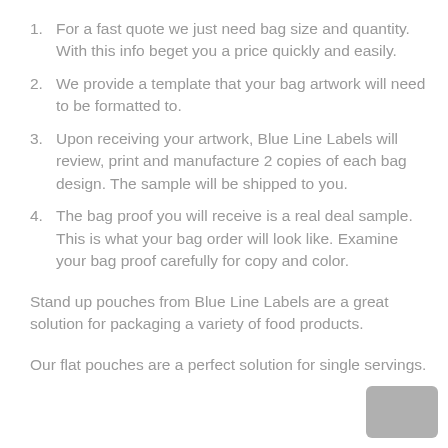1. For a fast quote we just need bag size and quantity. With this info beget you a price quickly and easily.
2. We provide a template that your bag artwork will need to be formatted to.
3. Upon receiving your artwork, Blue Line Labels will review, print and manufacture 2 copies of each bag design. The sample will be shipped to you.
4. The bag proof you will receive is a real deal sample. This is what your bag order will look like. Examine your bag proof carefully for copy and color.
Stand up pouches from Blue Line Labels are a great solution for packaging a variety of food products.
Our flat pouches are a perfect solution for single servings.